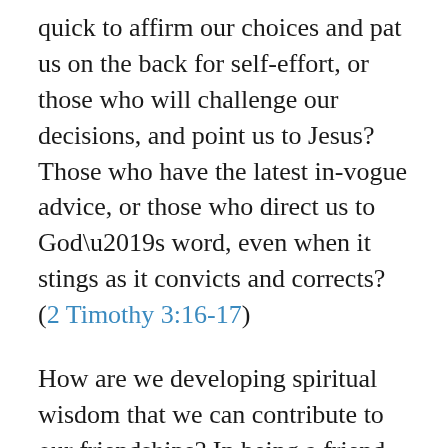quick to affirm our choices and pat us on the back for self-effort, or those who will challenge our decisions, and point us to Jesus? Those who have the latest in-vogue advice, or those who direct us to God’s word, even when it stings as it convicts and corrects? (2 Timothy 3:16–17)
How are we developing spiritual wisdom that we can contribute to our friendships? In being a friend, are we careful to keep confidences, to withhold saying or implying anything that would put another in a bad light? Do we take time and attention to read between the lines, to listen for the unspoken sensitivities and implications behind the words we actually hear? How brave are we to address wrong